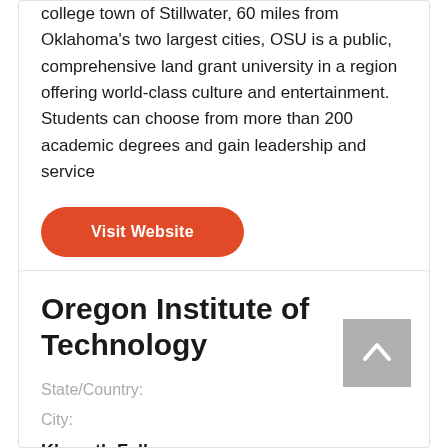college town of Stillwater, 60 miles from Oklahoma's two largest cities, OSU is a public, comprehensive land grant university in a region offering world-class culture and entertainment. Students can choose from more than 200 academic degrees and gain leadership and service
Visit Website
Oregon Institute of Technology
State/Country:
City:
Klamath Falls